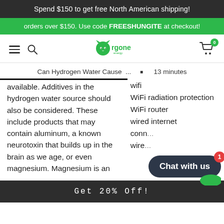Spend $150 to get free North American shipping!
orders over $150. Use code FREESHUNGITE at checkout!
[Figure (logo): Orgone Energy logo with navigation icons (hamburger menu, search, cart with badge showing 0)]
Can Hydrogen Water Cause ... • 13 minutes
available. Additives in the hydrogen water source should also be considered. These include products that may contain aluminum, a known neurotoxin that builds up in the brain as we age, or even magnesium. Magnesium is an
wifi
WiFi radiation protection
WiFi router
wired internet
conn...
wire...
[Figure (screenshot): Chat with us widget button with red badge showing 1]
Get 20% Off!